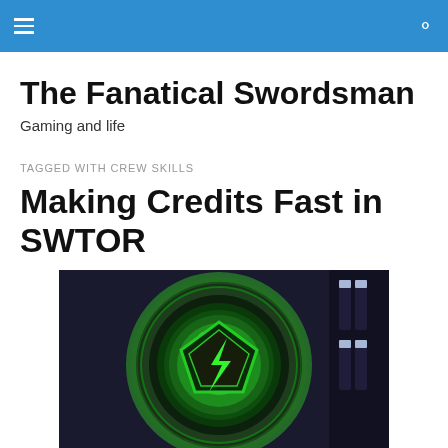The Fanatical Swordsman — navigation header
The Fanatical Swordsman
Gaming and life
TAGGED WITH CREW SKILLS
Making Credits Fast in SWTOR
[Figure (photo): A glowing green circular game icon with a lightning bolt/credits symbol on a dark sci-fi background, from the game SWTOR]